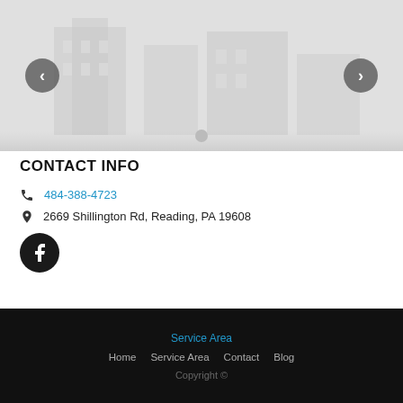[Figure (screenshot): Image slider/carousel showing a building photo with left and right navigation arrows and a dot indicator at the bottom]
CONTACT INFO
📞 484-388-4723
📍 2669 Shillington Rd, Reading, PA 19608
[Figure (logo): Facebook icon - dark circular button with white F]
Service Area | Home  Service Area  Contact  Blog | Copyright ©